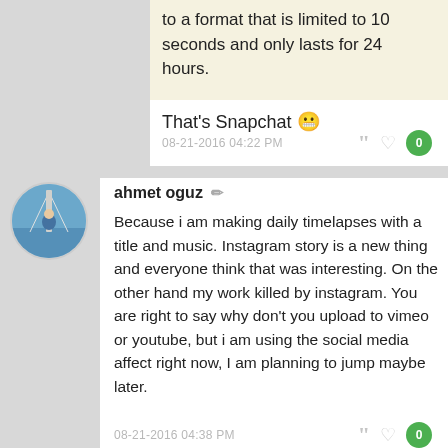to a format that is limited to 10 seconds and only lasts for 24 hours.
That's Snapchat 😬
08-21-2016 04:22 PM
ahmet oguz
Because i am making daily timelapses with a title and music. Instagram story is a new thing and everyone think that was interesting. On the other hand my work killed by instagram. You are right to say why don't you upload to vimeo or youtube, but i am using the social media affect right now, I am planning to jump maybe later.
08-21-2016 04:38 PM